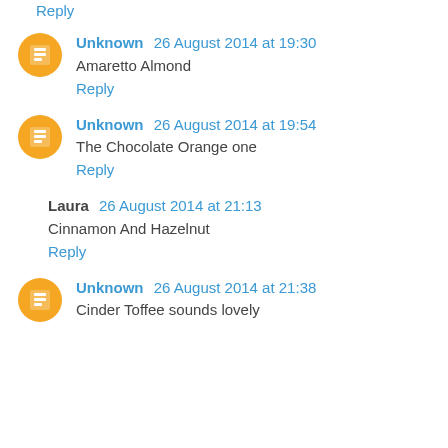Reply
Unknown 26 August 2014 at 19:30
Amaretto Almond
Reply
Unknown 26 August 2014 at 19:54
The Chocolate Orange one
Reply
Laura 26 August 2014 at 21:13
Cinnamon And Hazelnut
Reply
Unknown 26 August 2014 at 21:38
Cinder Toffee sounds lovely